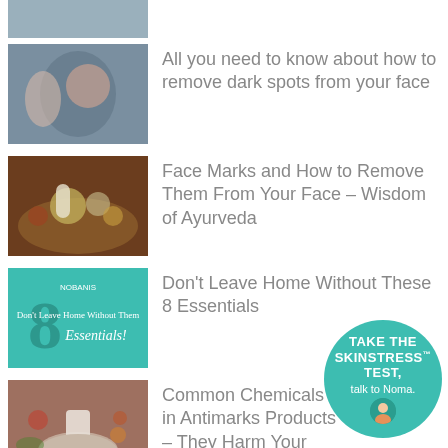[Figure (photo): Partial thumbnail of a product or person at top of page, cropped]
[Figure (photo): Woman looking in mirror at her face, examining dark spots]
All you need to know about how to remove dark spots from your face
[Figure (photo): Ayurvedic herbs and spices arranged on a wooden board for face marks treatment]
Face Marks and How to Remove Them From Your Face – Wisdom of Ayurveda
[Figure (photo): Promotional image: 8 Essentials - Don't Leave Home Without Them, teal background]
Don't Leave Home Without These 8 Essentials
[Figure (photo): Mortar and pestle with natural ingredients and herbs]
Common Chemicals in Antimarks Products – They Harm Your Skin
[Figure (other): Teal circular badge: TAKE THE SKINSTRESS™ TEST, talk to Noma. with avatar icon]